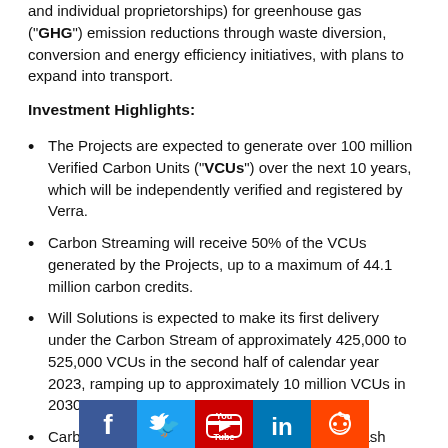and individual proprietorships) for greenhouse gas ("GHG") emission reductions through waste diversion, conversion and energy efficiency initiatives, with plans to expand into transport.
Investment Highlights:
The Projects are expected to generate over 100 million Verified Carbon Units (“VCUs”) over the next 10 years, which will be independently verified and registered by Verra.
Carbon Streaming will receive 50% of the VCUs generated by the Projects, up to a maximum of 44.1 million carbon credits.
Will Solutions is expected to make its first delivery under the Carbon Stream of approximately 425,000 to 525,000 VCUs in the second half of calendar year 2023, ramping up to approximately 10 million VCUs in 2030.
Carbon Streaming has made an initial upfront cash investment of US$4 million on closing, with additional payments of up to US$16 million to be made as the Projects achieve implementation and
[Figure (infographic): Social media icons bar: Facebook (dark blue), Twitter (light blue), YouTube (red), LinkedIn (blue), Reddit (orange-red)]